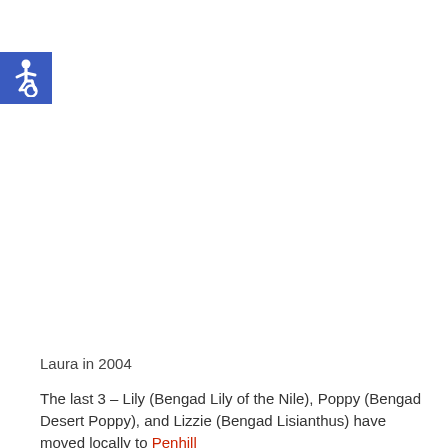[Figure (logo): Accessibility icon — white wheelchair symbol on blue square background]
Laura in 2004
The last 3 – Lily (Bengad Lily of the Nile), Poppy (Bengad Desert Poppy), and Lizzie (Bengad Lisianthus) have moved locally to Penhill